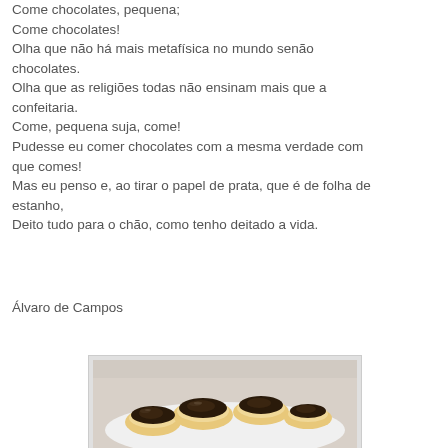Come chocolates, pequena;
Come chocolates!
Olha que não há mais metafísica no mundo senão chocolates.
Olha que as religiões todas não ensinam mais que a confeitaria.
Come, pequena suja, come!
Pudesse eu comer chocolates com a mesma verdade com que comes!
Mas eu penso e, ao tirar o papel de prata, que é de folha de estanho,
Deito tudo para o chão, como tenho deitado a vida.
Álvaro de Campos
[Figure (photo): Photo of chocolate-topped pastries on a white plate]